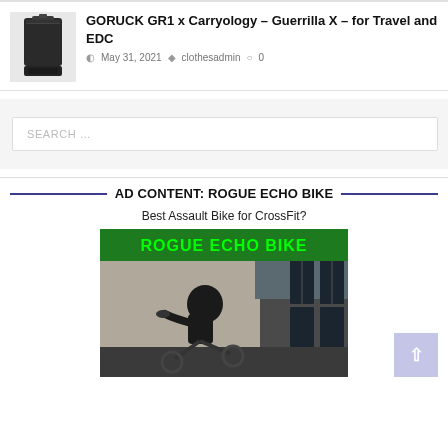[Figure (photo): Thumbnail image of a black GORUCK GR1 backpack]
GORUCK GR1 x Carryology – Guerrilla X – for Travel and EDC
May 31, 2021  clothesadmin  0
SEARCH …
AD CONTENT: ROGUE ECHO BIKE
Best Assault Bike for CrossFit?
[Figure (photo): Rogue Echo Bike advertisement image showing a person riding an exercise bike in a gym, with a green banner at the top reading ROGUE ECHO BIKE in green text]